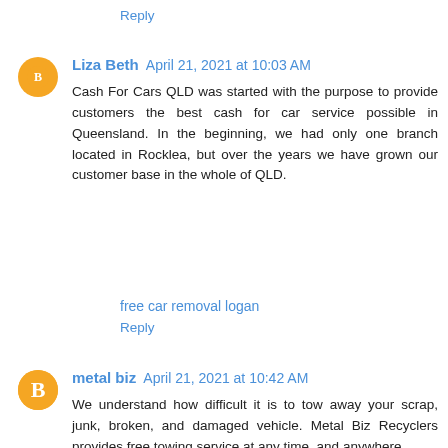Reply
Liza Beth  April 21, 2021 at 10:03 AM
Cash For Cars QLD was started with the purpose to provide customers the best cash for car service possible in Queensland. In the beginning, we had only one branch located in Rocklea, but over the years we have grown our customer base in the whole of QLD.
free car removal logan
Reply
metal biz  April 21, 2021 at 10:42 AM
We understand how difficult it is to tow away your scrap, junk, broken, and damaged vehicle. Metal Biz Recyclers provides free towing service at any time, and anywhere